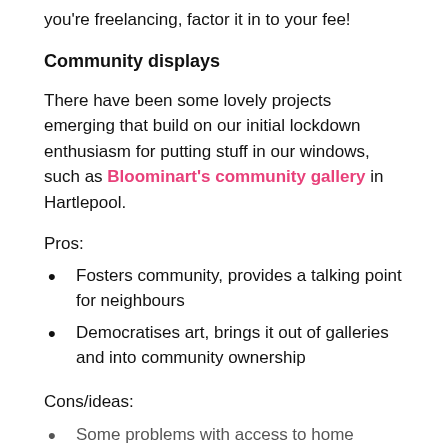you're freelancing, factor it in to your fee!
Community displays
There have been some lovely projects emerging that build on our initial lockdown enthusiasm for putting stuff in our windows, such as Bloominart's community gallery in Hartlepool.
Pros:
Fosters community, provides a talking point for neighbours
Democratises art, brings it out of galleries and into community ownership
Cons/ideas:
Some problems with access to home printers might